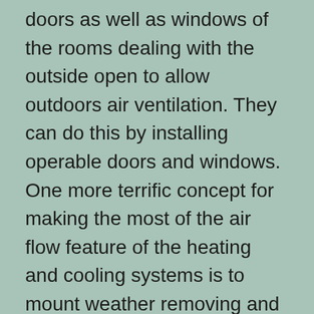doors as well as windows of the rooms dealing with the outside open to allow outdoors air ventilation. They can do this by installing operable doors and windows. One more terrific concept for making the most of the air flow feature of the heating and cooling systems is to mount weather removing and utilize humidifiers with a fan above.
Operable home windows are offered in different types as well as dimensions that can be matched with various types of a/c systems. The size of the window depends on the size of the room as well as the capacity. For more info if